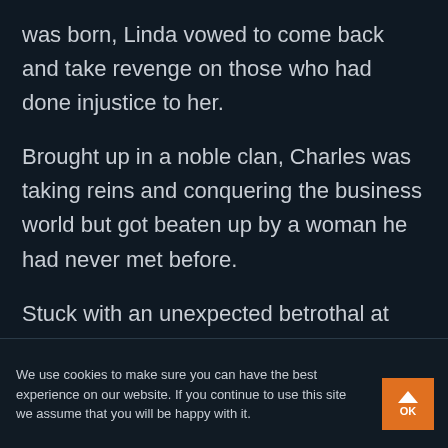was born, Linda vowed to come back and take revenge on those who had done injustice to her.
Brought up in a noble clan, Charles was taking reins and conquering the business world but got beaten up by a woman he had never met before.
Stuck with an unexpected betrothal at first, love eventually brought the two hearts
We use cookies to make sure you can have the best experience on our website. If you continue to use this site we assume that you will be happy with it.